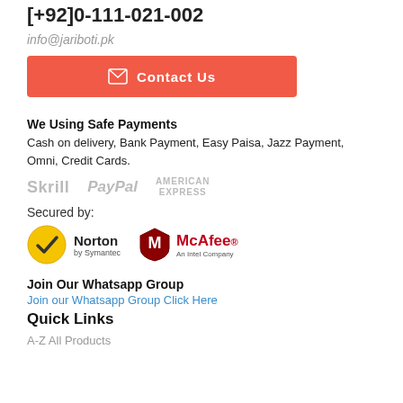[+92]0-111-021-002
info@jariboti.pk
Contact Us
We Using Safe Payments
Cash on delivery, Bank Payment, Easy Paisa, Jazz Payment, Omni, Credit Cards.
[Figure (logo): Payment logos: Skrill, PayPal, American Express]
Secured by:
[Figure (logo): Security logos: Norton by Symantec, McAfee An Intel Company]
Join Our Whatsapp Group
Join our Whatsapp Group Click Here
Quick Links
A-Z All Products